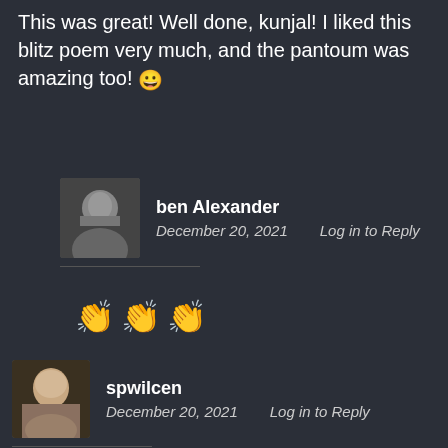This was great! Well done, kunjal! I liked this blitz poem very much, and the pantoum was amazing too! 😀
ben Alexander
December 20, 2021    Log in to Reply
👏👏👏
spwilcen
December 20, 2021    Log in to Reply